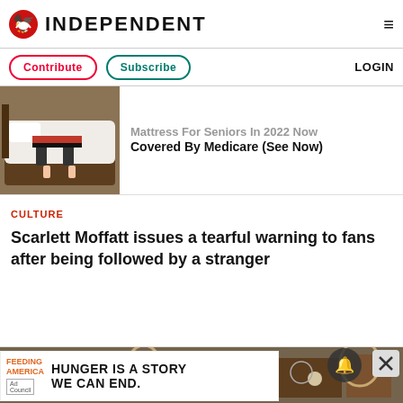INDEPENDENT
Contribute  Subscribe  LOGIN
[Figure (photo): Person pressing hands on a white mattress]
Mattress For Seniors In 2022 Now Covered By Medicare (See Now)
CULTURE
Scarlett Moffatt issues a tearful warning to fans after being followed by a stranger
[Figure (photo): Antique furniture store interior with wooden pieces and decorative items]
[Figure (infographic): Feeding America Ad Council banner: HUNGER IS A STORY WE CAN END.]